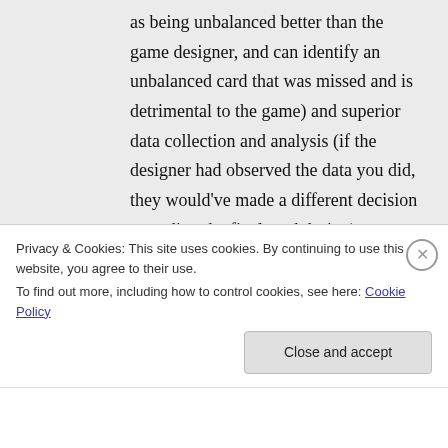as being unbalanced better than the game designer, and can identify an unbalanced card that was missed and is detrimental to the game) and superior data collection and analysis (if the designer had observed the data you did, they would've made a different decision regarding the final card design).

It's a pet peeve.
Privacy & Cookies: This site uses cookies. By continuing to use this website, you agree to their use.
To find out more, including how to control cookies, see here: Cookie Policy
Close and accept